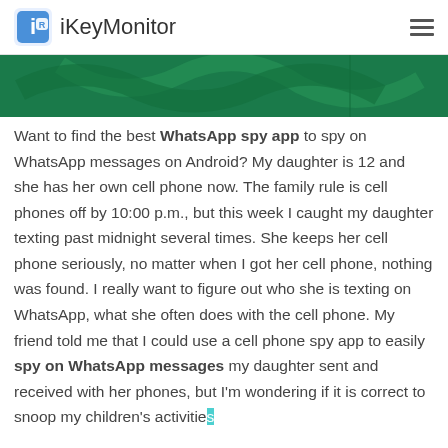iKeyMonitor
[Figure (illustration): Green banner image with decorative wave/logo elements in darker green]
Want to find the best WhatsApp spy app to spy on WhatsApp messages on Android? My daughter is 12 and she has her own cell phone now. The family rule is cell phones off by 10:00 p.m., but this week I caught my daughter texting past midnight several times. She keeps her cell phone seriously, no matter when I got her cell phone, nothing was found. I really want to figure out who she is texting on WhatsApp, what she often does with the cell phone. My friend told me that I could use a cell phone spy app to easily spy on WhatsApp messages my daughter sent and received with her phones, but I'm wondering if it is correct to snoop my children's activities